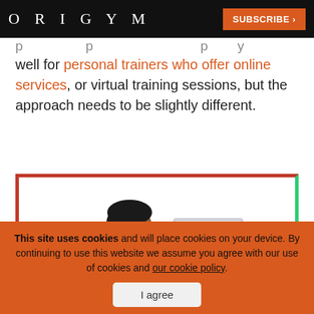ORIGYM | SUBSCRIBE >
well for personal trainers who offer online services, or virtual training sessions, but the approach needs to be slightly different.
[Figure (illustration): Illustration of a woman in a blue tank top holding a water bottle, smiling and gesturing, with a laptop on a desk in front of her. Image has an orange-red left/bottom border and teal right border.]
This site uses cookies and will place cookies on your device. By continuing to use this website we assume you agree with our use of cookies and our cookie policy.